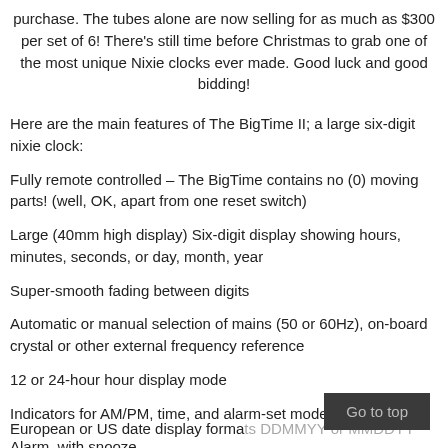purchase. The tubes alone are now selling for as much as $300 per set of 6! There's still time before Christmas to grab one of the most unique Nixie clocks ever made. Good luck and good bidding!
Here are the main features of The BigTime II; a large six-digit nixie clock:
Fully remote controlled – The BigTime contains no (0) moving parts! (well, OK, apart from one reset switch)
Large (40mm high display) Six-digit display showing hours, minutes, seconds, or day, month, year
Super-smooth fading between digits
Automatic or manual selection of mains (50 or 60Hz), on-board crystal or other external frequency reference
12 or 24-hour hour display mode
Indicators for AM/PM, time, and alarm-set mode
Alarm, with snooze
European or US date display formats DDMMYY or MMDDYY